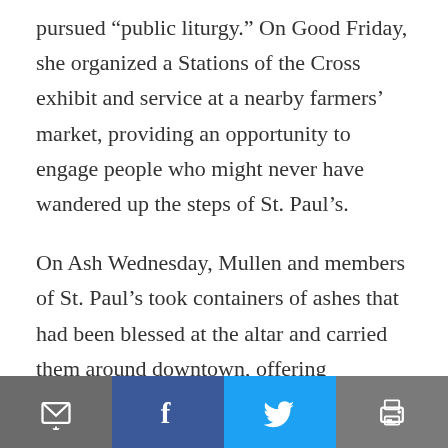pursued "public liturgy." On Good Friday, she organized a Stations of the Cross exhibit and service at a nearby farmers’ market, providing an opportunity to engage people who might never have wandered up the steps of St. Paul’s.
On Ash Wednesday, Mullen and members of St. Paul’s took containers of ashes that had been blessed at the altar and carried them around downtown, offering imposition of the ashes to anyone who wanted it. The response -- from nearby medical students, office workers and
[Figure (other): Social sharing toolbar with four buttons: email/share (dark gray), Facebook (dark blue), Twitter (light blue), and print (gray)]